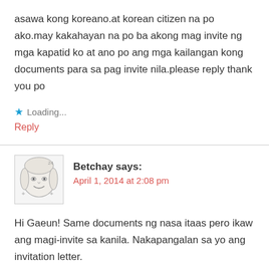asawa kong koreano.at korean citizen na po ako.may kakahayan na po ba akong mag invite ng mga kapatid ko at ano po ang mga kailangan kong documents para sa pag invite nila.please reply thank you po
Loading...
Reply
Betchay says:
April 1, 2014 at 2:08 pm
Hi Gaeun! Same documents ng nasa itaas pero ikaw ang magi-invite sa kanila. Nakapangalan sa yo ang invitation letter.